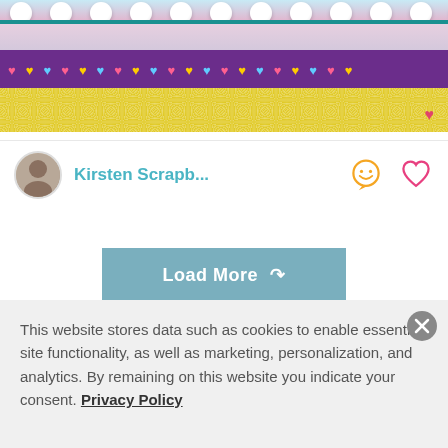[Figure (photo): Colorful craft/scrapbooking material strips with pompoms, floral fabric, purple hearts band, and yellow fabric strip]
Kirsten Scrapb...
Load More
Viewing 1-18 of 1,504
1 2 3 4 5 6 7 8 »
This website stores data such as cookies to enable essential site functionality, as well as marketing, personalization, and analytics. By remaining on this website you indicate your consent. Privacy Policy